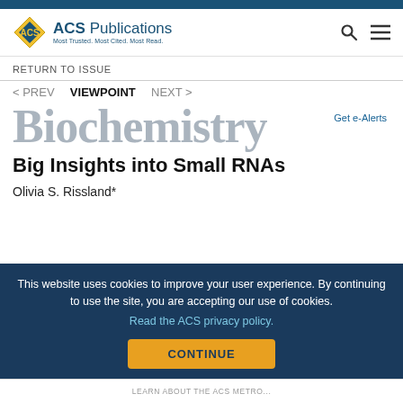ACS Publications – Most Trusted. Most Cited. Most Read.
RETURN TO ISSUE
< PREV   VIEWPOINT   NEXT >
Biochemistry
Get e-Alerts
Big Insights into Small RNAs
Olivia S. Rissland*
This website uses cookies to improve your user experience. By continuing to use the site, you are accepting our use of cookies. Read the ACS privacy policy.
CONTINUE